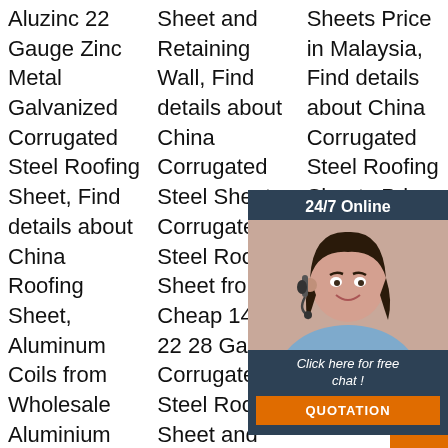Aluzinc 22 Gauge Zinc Metal Galvanized Corrugated Steel Roofing Sheet, Find details about China Roofing Sheet, Aluminum Coils from Wholesale Aluminium Galvanized Aluzinc 22 Gauge Zinc Metal
Sheet and Retaining Wall, Find details about China Corrugated Steel Sheet, Corrugated Steel Roofing Sheet from Cheap 14 16 22 28 Gauge Corrugated Steel Roofing Sheet and Retaining Wall - Tianjin Tianyingtai
Sheets Price in Malaysia, Find details about China Corrugated Steel Roofing Sheets Price in Malaysia.
[Figure (other): 24/7 online chat widget with a woman wearing a headset, dark background, orange QUOTATION button]
Click here for free chat !
QUOTATION